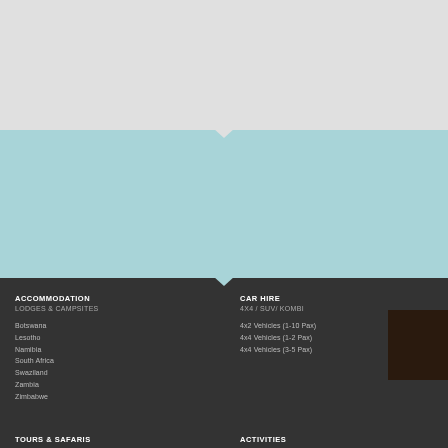[Figure (illustration): Light gray top band with teal/light blue middle band and dark charcoal bottom band, separated by downward-pointing chevron/arrow shapes]
ACCOMMODATION
LODGES & CAMPSITES
Botswana
Lesotho
Namibia
South Africa
Swaziland
Zambia
Zimbabwe
CAR HIRE
4X4 / SUV/ KOMBI
4x2 Vehicles (1-10 Pax)
4x4 Vehicles (1-2 Pax)
4x4 Vehicles (3-5 Pax)
TOURS & SAFARIS
ACTIVITIES